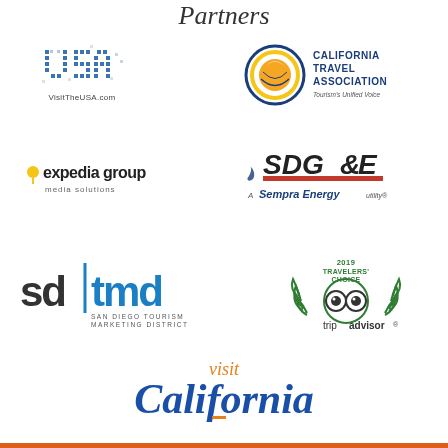Partners
[Figure (logo): VisitTheUSA.com logo — pixelated USA text in blue dots with 'VisitTheUSA.com' below]
[Figure (logo): California Travel Association logo — circular badge with yellow/orange globe and blue/yellow ring, text 'CALIFORNIA TRAVEL ASSOCIATION Tourism's Unified Voice']
[Figure (logo): Expedia Group media solutions logo — lowercase text with yellow location pin icon]
[Figure (logo): SDG&E / Sempra Energy utility logo — red and white SDG&E lettering with Sempra Energy utility text below]
[Figure (logo): SD TMD — San Diego Tourism Marketing District logo, blue and dark text]
[Figure (logo): TripAdvisor 2019 Travelers' Choice award logo — green laurel wreath with owl eyes icon]
[Figure (logo): Visit California logo — large 'California' in blue script with 'visit' in orange above]